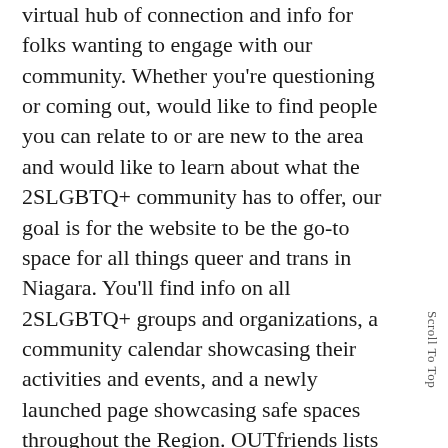virtual hub of connection and info for folks wanting to engage with our community. Whether you're questioning or coming out, would like to find people you can relate to or are new to the area and would like to learn about what the 2SLGBTQ+ community has to offer, our goal is for the website to be the go-to space for all things queer and trans in Niagara. You'll find info on all 2SLGBTQ+ groups and organizations, a community calendar showcasing their activities and events, and a newly launched page showcasing safe spaces throughout the Region. OUTfriends lists 2SLGBTQ+ friendly businesses and services, developed using personal recommendations from folks in our community
All of this excitement and growth in our community